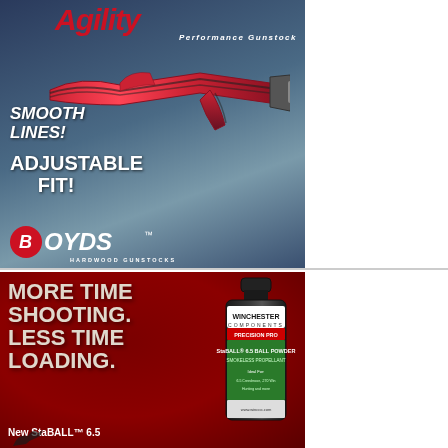[Figure (photo): Boyds Hardwood Gunstocks advertisement featuring the Agility Performance Gunstock. Dark blue-grey gradient background with a red and black laminate gunstock. Text: 'Agility Performance Gunstock', 'SMOOTH LINES!', 'ADJUSTABLE FIT!', Boyds Hardwood Gunstocks logo.]
[Figure (photo): Winchester Components advertisement for New StaBALL 6.5 smokeless propellant powder. Dark red background with large white bold text: 'MORE TIME SHOOTING. LESS TIME LOADING.' and 'New StaBALL 6.5'. Black Winchester powder bottle with green label shown on right.]